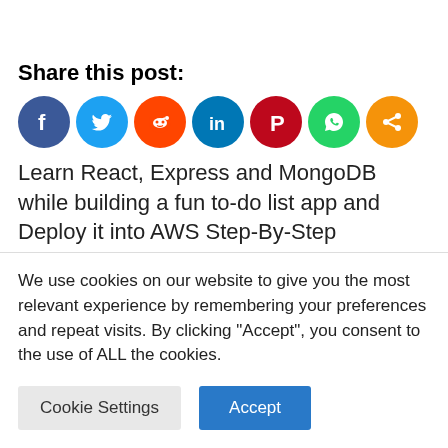Share this post:
[Figure (other): Row of social sharing icons: Facebook (dark blue), Twitter (light blue), Reddit (orange-red), LinkedIn (dark blue-teal), Pinterest (dark red), WhatsApp (green), Share (orange)]
Learn React, Express and MongoDB while building a fun to-do list app and Deploy it into AWS Step-By-Step
DevSecOps Build and Deploy a Website From Scratch (AWS) 2021
We use cookies on our website to give you the most relevant experience by remembering your preferences and repeat visits. By clicking “Accept”, you consent to the use of ALL the cookies.